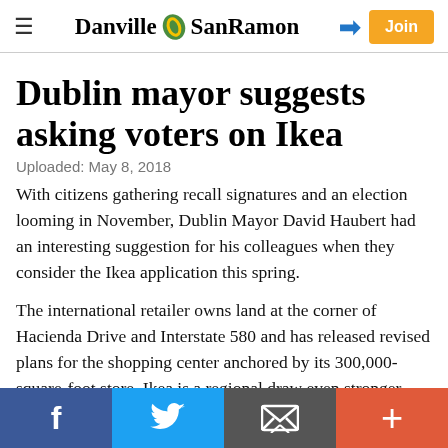Danville SanRamon
Dublin mayor suggests asking voters on Ikea
Uploaded: May 8, 2018
With citizens gathering recall signatures and an election looming in November, Dublin Mayor David Haubert had an interesting suggestion for his colleagues when they consider the Ikea application this spring.
The international retailer owns land at the corner of Hacienda Drive and Interstate 580 and has released revised plans for the shopping center anchored by its 300,000-square-foot store. Ikea is a regional draw even stronger than the San Francisco Bay Premium Outlets